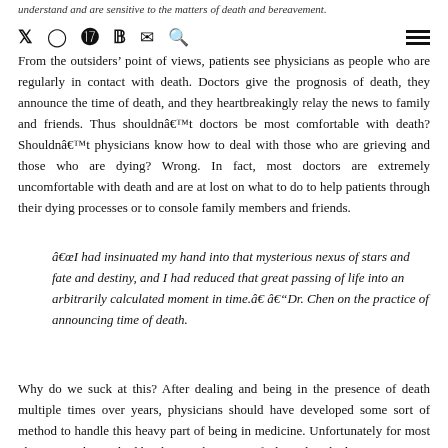understand and are sensitive to the matters of death and bereavement.
Social media navigation icons and hamburger menu
From the outsiders’ point of views, patients see physicians as people who are regularly in contact with death. Doctors give the prognosis of death, they announce the time of death, and they heartbreakingly relay the news to family and friends. Thus shouldnât doctors be most comfortable with death? Shouldnât physicians know how to deal with those who are grieving and those who are dying? Wrong. In fact, most doctors are extremely uncomfortable with death and are at lost on what to do to help patients through their dying processes or to console family members and friends.
âI had insinuated my hand into that mysterious nexus of stars and fate and destiny, and I had reduced that great passing of life into an arbitrarily calculated moment in time.â â“Dr. Chen on the practice of announcing time of death.
Why do we suck at this? After dealing and being in the presence of death multiple times over years, physicians should have developed some sort of method to handle this heavy part of being in medicine. Unfortunately for most physicians, the method has been to become unfeeling, detached, or